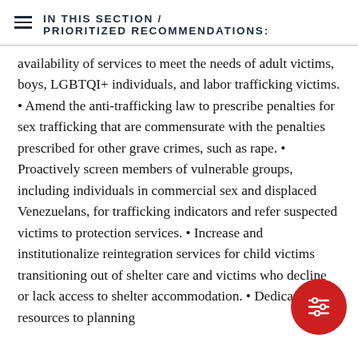IN THIS SECTION / PRIORITIZED RECOMMENDATIONS:
availability of services to meet the needs of adult victims, boys, LGBTQI+ individuals, and labor trafficking victims. • Amend the anti-trafficking law to prescribe penalties for sex trafficking that are commensurate with the penalties prescribed for other grave crimes, such as rape. • Proactively screen members of vulnerable groups, including individuals in commercial sex and displaced Venezuelans, for trafficking indicators and refer suspected victims to protection services. • Increase and institutionalize reintegration services for child victims transitioning out of shelter care and victims who decline or lack access to shelter accommodation. • Dedicate more resources to planning